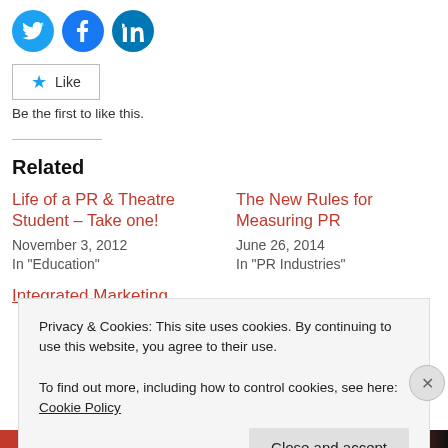[Figure (infographic): Three social media icon buttons: Twitter (blue bird), Facebook (blue f), LinkedIn (blue in)]
[Figure (infographic): Like button with star icon]
Be the first to like this.
Related
Life of a PR & Theatre Student – Take one!
November 3, 2012
In "Education"
The New Rules for Measuring PR
June 26, 2014
In "PR Industries"
Integrated Marketing
Privacy & Cookies: This site uses cookies. By continuing to use this website, you agree to their use.
To find out more, including how to control cookies, see here: Cookie Policy
Close and accept